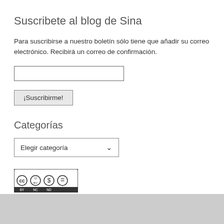Suscribete al blog de Sina
Para suscribirse a nuestro boletín sólo tiene que añadir su correo electrónico. Recibirá un correo de confirmación.
[Figure (other): Email input text field (empty)]
[Figure (other): Button labeled ¡Suscribirme!]
Categorías
[Figure (other): Dropdown select box labeled 'Elegir categoría' with chevron arrow]
[Figure (other): Creative Commons BY-NC-ND license badge with four circular icons]
Esta obra está bajo una licencia de Creative Commons